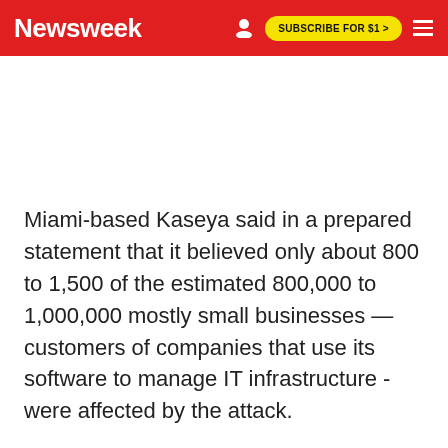Newsweek | SUBSCRIBE FOR $1 >
Miami-based Kaseya said in a prepared statement that it believed only about 800 to 1,500 of the estimated 800,000 to 1,000,000 mostly small businesses — customers of companies that use its software to manage IT infrastructure - were affected by the attack.
The hacked Kaseya tool, VSA, remotely